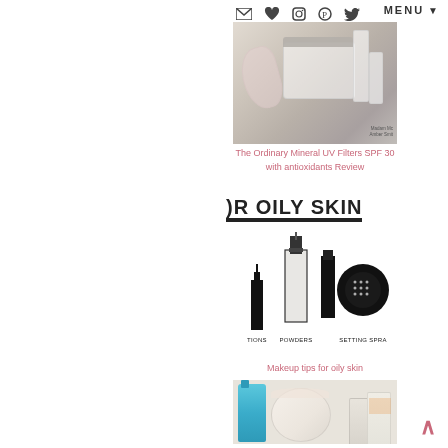MENU
[Figure (photo): Skincare product flat lay with The Ordinary Mineral UV Filters SPF 30 sunscreen and other products on marble surface]
The Ordinary Mineral UV Filters SPF 30 with antioxidants Review
OR OILY SKIN
[Figure (illustration): Illustration of makeup products for oily skin including foundations/serums, powders, and setting sprays in black silhouette style with labels: TIONS, POWDERS, SETTING SPRAY]
Makeup tips for oily skin
[Figure (photo): Flat lay of skincare products including a blue bottle, pink powder jar, and other skincare items on white textured background]